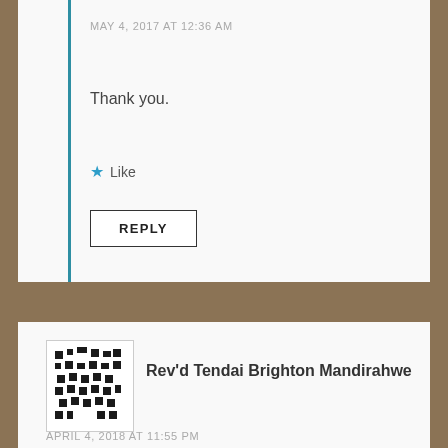MAY 4, 2017 AT 12:36 AM
Thank you.
★ Like
REPLY
[Figure (illustration): Avatar image — pixelated black and white pattern avatar for Rev'd Tendai Brighton Mandirahwe]
Rev'd Tendai Brighton Mandirahwe
APRIL 4, 2018 AT 11:55 PM